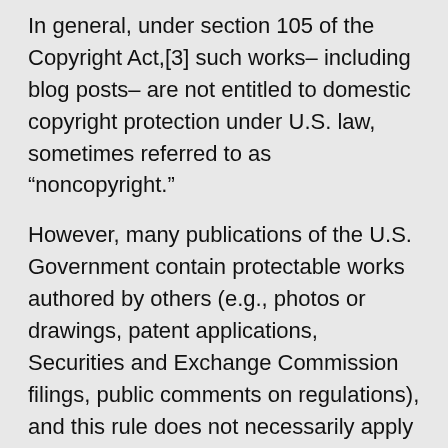In general, under section 105 of the Copyright Act,[3] such works– including blog posts– are not entitled to domestic copyright protection under U.S. law, sometimes referred to as “noncopyright.”
However, many publications of the U.S. Government contain protectable works authored by others (e.g., photos or drawings, patent applications, Securities and Exchange Commission filings, public comments on regulations), and this rule does not necessarily apply to the creative content of those works. Thus, you must check each publication and work produced by GPO to ascertain whether it is public domain or some other copyright protection